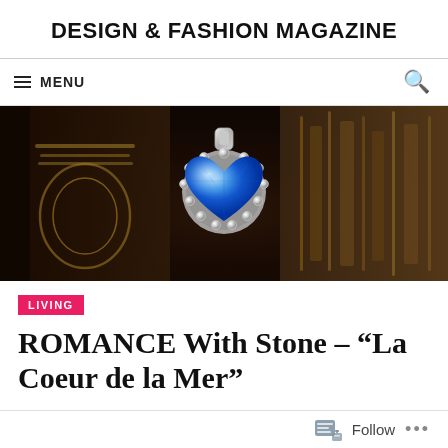DESIGN & FASHION MAGAZINE
≡ MENU
[Figure (photo): Close-up photo of a blue heart-shaped sapphire pendant necklace with diamond halo setting, resting against dark leather-bound books with gold embossed lettering.]
LIVING
ROMANCE With Stone – "La Coeur de la Mer"